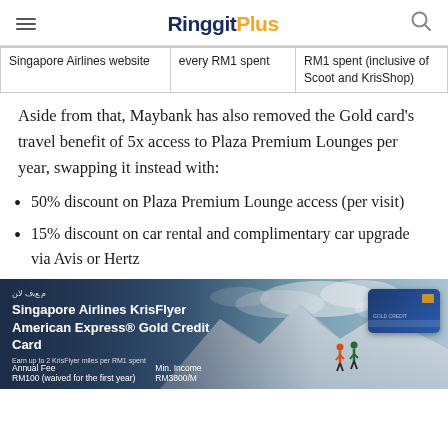RinggitPlus
| Singapore Airlines website | every RM1 spent | RM1 spent (inclusive of Scoot and KrisShop) |
Aside from that, Maybank has also removed the Gold card's travel benefit of 5x access to Plaza Premium Lounges per year, swapping it instead with:
50% discount on Plaza Premium Lounge access (per visit)
15% discount on car rental and complimentary car upgrade via Avis or Hertz
[Figure (photo): Banner image showing Singapore Airlines KrisFlyer American Express Gold Credit Card promotional banner with snowy mountain background and two hikers. Shows annual fee RM100 (waived for first year) and RM3800/M text.]